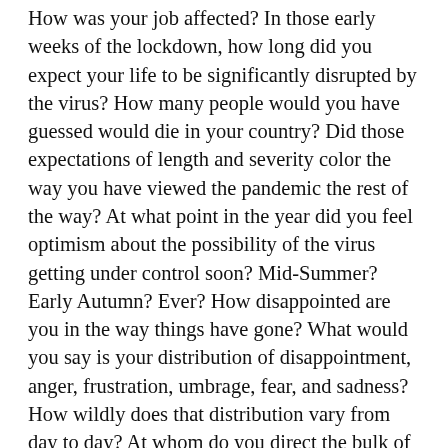How was your job affected?  In those early weeks of the lockdown, how long did you expect your life to be significantly disrupted by the virus?  How many people would you have guessed would die in your country?  Did those expectations of length and severity color the way you have viewed the pandemic the rest of the way?  At what point in the year did you feel optimism about the possibility of the virus getting under control soon?  Mid-Summer?  Early Autumn?  Ever?  How disappointed are you in the way things have gone?  What would you say is your distribution of disappointment, anger, frustration, umbrage, fear, and sadness?  How wildly does that distribution vary from day to day?  At whom do you direct the bulk of your ire regarding the duration and depth of this fiasco?  Elected officials?  God/the Universe?  Regular folks not following the basic safety rules?  Does your answer vary from day to day on that one as well?  When I look back now over this letter to you and how I have described life in the last year, I see words like muted, disappointed, desperate, bizarre, dimmed, wasteful,